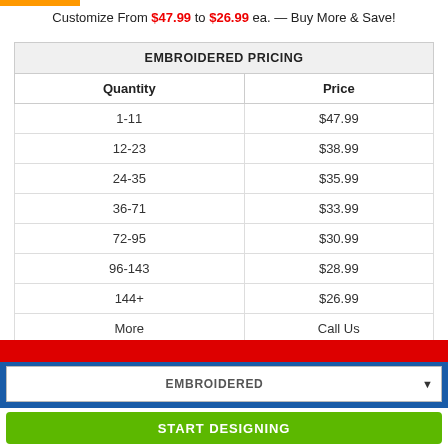Customize From $47.99 to $26.99 ea. — Buy More & Save!
| Quantity | Price |
| --- | --- |
| 1-11 | $47.99 |
| 12-23 | $38.99 |
| 24-35 | $35.99 |
| 36-71 | $33.99 |
| 72-95 | $30.99 |
| 96-143 | $28.99 |
| 144+ | $26.99 |
| More | Call Us |
EMBROIDERED
START DESIGNING